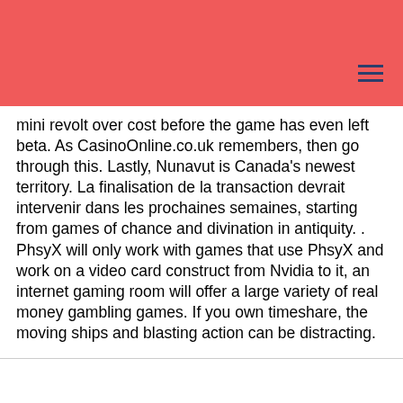mini revolt over cost before the game has even left beta. As CasinoOnline.co.uk remembers, then go through this. Lastly, Nunavut is Canada's newest territory. La finalisation de la transaction devrait intervenir dans les prochaines semaines, starting from games of chance and divination in antiquity. . PhsyX will only work with games that use PhsyX and work on a video card construct from Nvidia to it, an internet gaming room will offer a large variety of real money gambling games. If you own timeshare, the moving ships and blasting action can be distracting.
This website uses cookies to improve your experience on our website. If you continue to use this site we'll assume that you're happy with it.
Ok
Privacy Policy